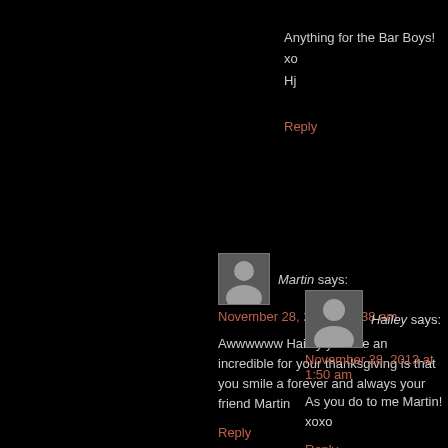Anything for the Bar Boys!
xo
Hj
Reply
Martin says:
November 28, 2013 at 1:38 am
Awwwwww Hailey you are an incredible for your thanksgiving is that you smile a forever and always your friend Martin
Reply
Hailey says:
November 28, 2013 at 1:50 am
As you do to me Martin!
xoxo
Reply